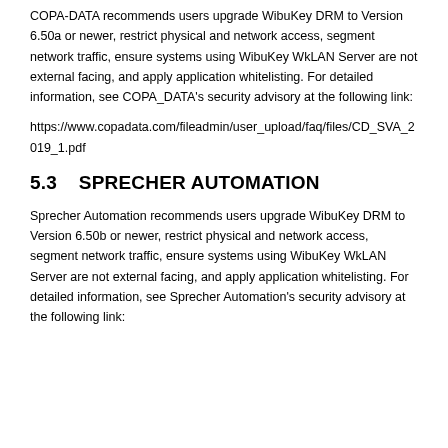COPA-DATA recommends users upgrade WibuKey DRM to Version 6.50a or newer, restrict physical and network access, segment network traffic, ensure systems using WibuKey WkLAN Server are not external facing, and apply application whitelisting. For detailed information, see COPA_DATA's security advisory at the following link:
https://www.copadata.com/fileadmin/user_upload/faq/files/CD_SVA_2019_1.pdf
5.3    SPRECHER AUTOMATION
Sprecher Automation recommends users upgrade WibuKey DRM to Version 6.50b or newer, restrict physical and network access, segment network traffic, ensure systems using WibuKey WkLAN Server are not external facing, and apply application whitelisting. For detailed information, see Sprecher Automation's security advisory at the following link: